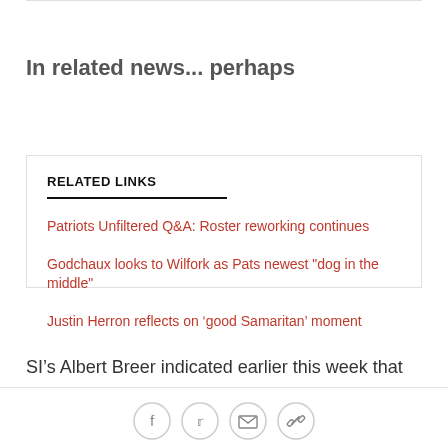In related news... perhaps
RELATED LINKS
Patriots Unfiltered Q&A: Roster reworking continues
Godchaux looks to Wilfork as Pats newest "dog in the middle"
Justin Herron reflects on ‘good Samaritan’ moment
SI’s Albert Breer indicated earlier this week that
[Figure (infographic): Row of four social sharing icon buttons: Facebook, Twitter, Email, Link/chain]